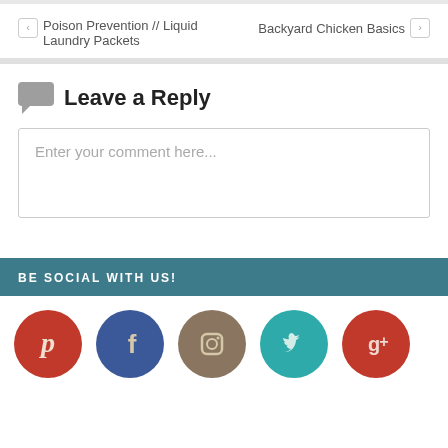Poison Prevention // Liquid Laundry Packets
Backyard Chicken Basics
Leave a Reply
Enter your comment here...
BE SOCIAL WITH US!
[Figure (illustration): Row of five social media icons: Pinterest (red circle with P), Facebook (blue circle with f), Instagram (brown circle with camera), Twitter (teal circle with bird), Google+ (red circle with g+)]